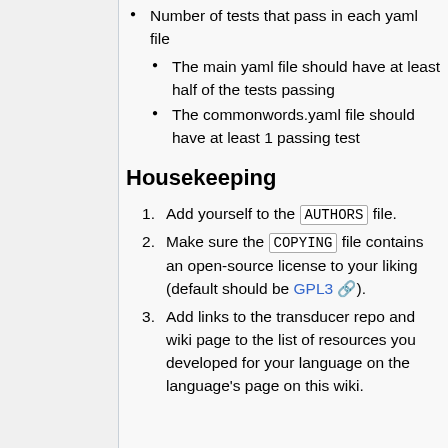Number of tests that pass in each yaml file
The main yaml file should have at least half of the tests passing
The commonwords.yaml file should have at least 1 passing test
Housekeeping
Add yourself to the AUTHORS file.
Make sure the COPYING file contains an open-source license to your liking (default should be GPL3).
Add links to the transducer repo and wiki page to the list of resources you developed for your language on the language's page on this wiki.